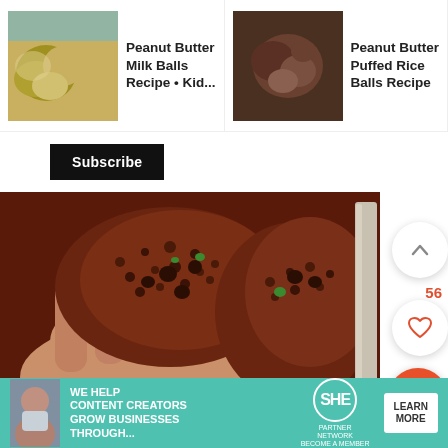[Figure (screenshot): Navigation bar with three recipe card thumbnails: 'Peanut Butter Milk Balls Recipe • Kid...', 'Peanut Butter Puffed Rice Balls Recipe', 'Festive Peanut Butter Balls Recipe']
[Figure (photo): A hand holding a chocolate puffed rice ball, broken open to reveal texture, with more balls in background. Up chevron button (56px circle), count '56', heart button, and orange search button on the right side.]
take small portion from this
[Figure (infographic): SHE Partner Network advertisement banner: 'WE HELP CONTENT CREATORS GROW BUSINESSES THROUGH...' with SHE logo and 'LEARN MORE' button]